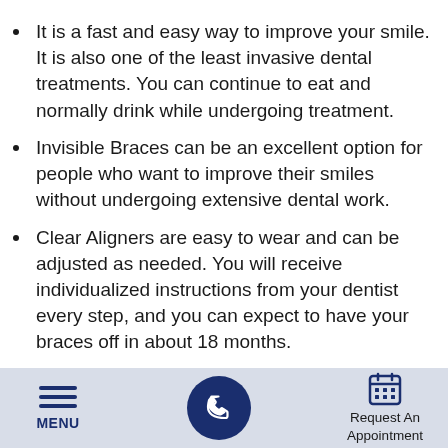It is a fast and easy way to improve your smile. It is also one of the least invasive dental treatments. You can continue to eat and normally drink while undergoing treatment.
Invisible Braces can be an excellent option for people who want to improve their smiles without undergoing extensive dental work.
Clear Aligners are easy to wear and can be adjusted as needed. You will receive individualized instructions from your dentist every step, and you can expect to have your braces off in about 18 months.
The dental material used in Invisalign is
MENU | [phone icon] | Request An Appointment